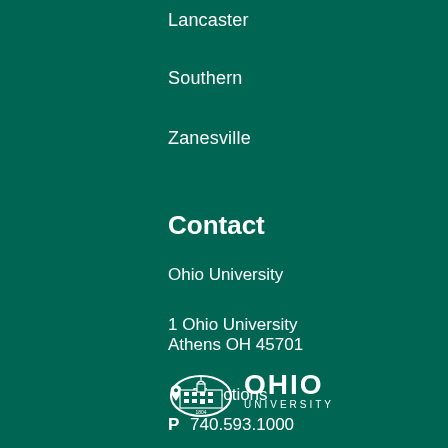Lancaster
Southern
Zanesville
Contact
Ohio University
1 Ohio University
Athens OH 45701
Directions
P  740.593.1000
[Figure (logo): Ohio University logo with building icon and text OHIO UNIVERSITY]